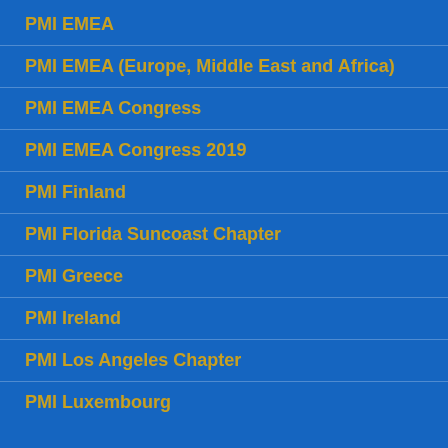PMI EMEA
PMI EMEA (Europe, Middle East and Africa)
PMI EMEA Congress
PMI EMEA Congress 2019
PMI Finland
PMI Florida Suncoast Chapter
PMI Greece
PMI Ireland
PMI Los Angeles Chapter
PMI Luxembourg